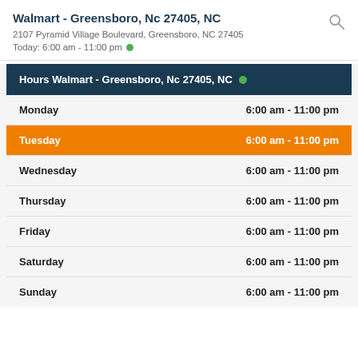Walmart - Greensboro, Nc 27405, NC
2107 Pyramid Village Boulevard, Greensboro, NC 27405
Today: 6:00 am - 11:00 pm
| Hours Walmart - Greensboro, Nc 27405, NC |  |
| --- | --- |
| Monday | 6:00 am - 11:00 pm |
| Tuesday | 6:00 am - 11:00 pm |
| Wednesday | 6:00 am - 11:00 pm |
| Thursday | 6:00 am - 11:00 pm |
| Friday | 6:00 am - 11:00 pm |
| Saturday | 6:00 am - 11:00 pm |
| Sunday | 6:00 am - 11:00 pm |